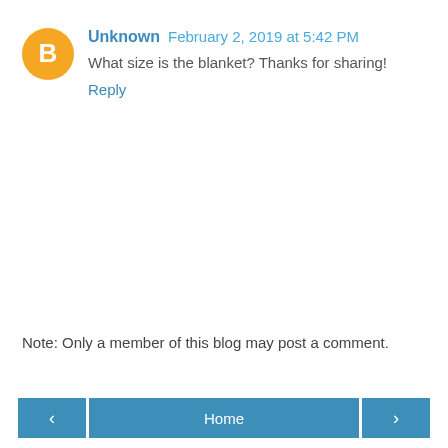[Figure (illustration): Orange circular Blogger avatar icon with white 'B' letter]
Unknown February 2, 2019 at 5:42 PM
What size is the blanket? Thanks for sharing!
Reply
Note: Only a member of this blog may post a comment.
‹
Home
›
View web version